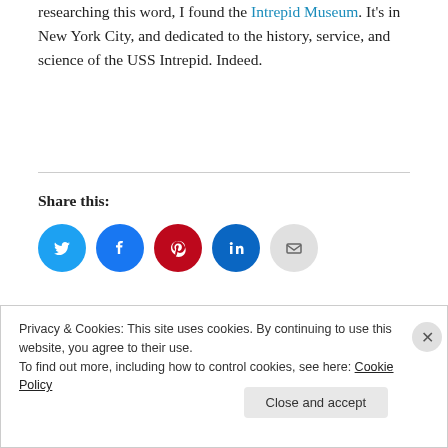researching this word, I found the Intrepid Museum. It's in New York City, and dedicated to the history, service, and science of the USS Intrepid. Indeed.
Share this:
[Figure (infographic): Social share buttons: Twitter (blue circle), Facebook (blue circle), Pinterest (red circle), LinkedIn (dark blue circle), Email (grey circle)]
Loading...
Privacy & Cookies: This site uses cookies. By continuing to use this website, you agree to their use. To find out more, including how to control cookies, see here: Cookie Policy
Close and accept